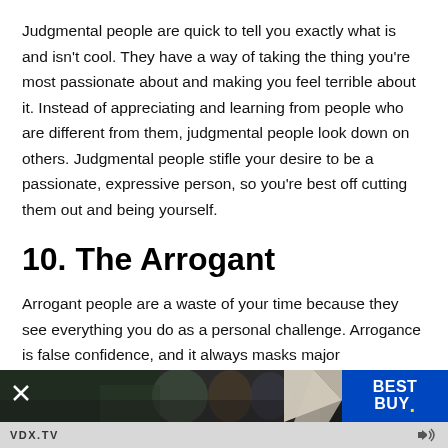Judgmental people are quick to tell you exactly what is and isn't cool. They have a way of taking the thing you're most passionate about and making you feel terrible about it. Instead of appreciating and learning from people who are different from them, judgmental people look down on others. Judgmental people stifle your desire to be a passionate, expressive person, so you're best off cutting them out and being yourself.
10. The Arrogant
Arrogant people are a waste of your time because they see everything you do as a personal challenge. Arrogance is false confidence, and it always masks major insecurities. Aarrogance is correlated with a slew of problems in the
[Figure (screenshot): Advertisement bar at the bottom of the page featuring a Best Buy TV ad. Shows a close button (X) on the left, a dark video thumbnail with people in a kitchen, a page-curl graphic element, and the Best Buy logo in blue on the right. Below is a light gray bar with 'VDX.TV' text and a volume/speaker icon.]